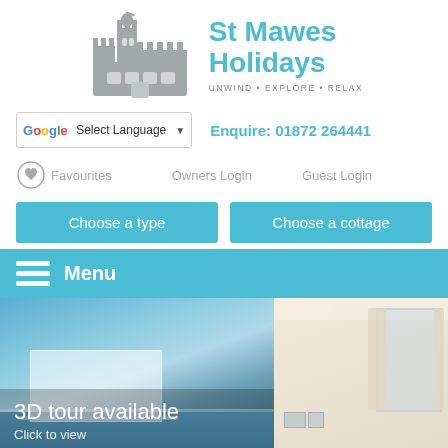[Figure (logo): St Mawes Holidays logo with castle illustration in grey and blue text]
Select Language ▼   Enquire: 01872 264441
Favourites   Owners Login   Guest Login
Choose a type   Choose a cottage
Menu
[Figure (photo): Left: coastal view with white building and blue sea sky. Text overlay: 3D tour available / Click to view. Right: interior room with cream curtains and window.]